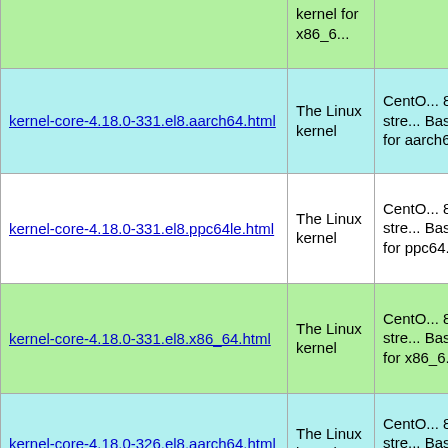| Package | Summary | Description |
| --- | --- | --- |
| kernel-core-4.18.0-331.el8.aarch64.html | The Linux kernel | CentOS 8-stream BaseOS for aarch64 |
| kernel-core-4.18.0-331.el8.ppc64le.html | The Linux kernel | CentOS 8-stream BaseOS for ppc64le |
| kernel-core-4.18.0-331.el8.x86_64.html | The Linux kernel | CentOS 8-stream BaseOS for x86_64 |
| kernel-core-4.18.0-326.el8.aarch64.html | The Linux kernel | CentOS 8-stream BaseOS for aarch64 |
| (partial row) | The | CentOS 8-stre... |